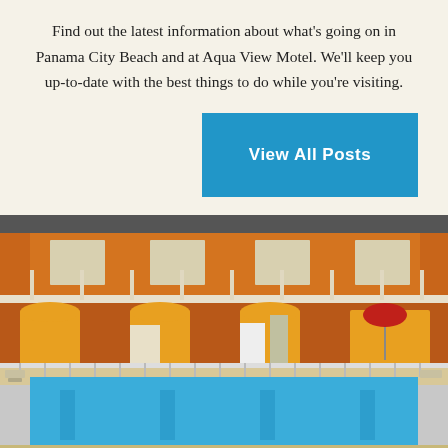Find out the latest information about what's going on in Panama City Beach and at Aqua View Motel. We'll keep you up-to-date with the best things to do while you're visiting.
[Figure (other): Blue button labeled 'View All Posts' on cream background, right-aligned]
[Figure (photo): Photograph of Aqua View Motel showing a two-story orange and red motel building with white railings surrounding a large rectangular outdoor swimming pool with blue water. Lounge chairs visible around the pool area and a red umbrella on the right side.]